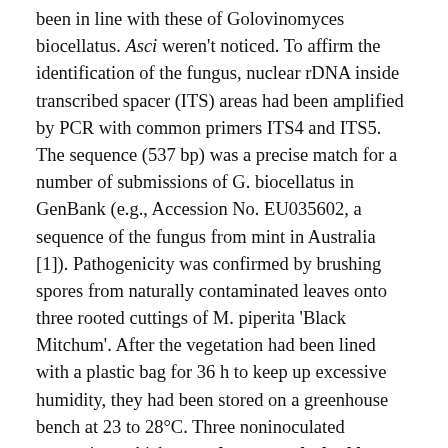been in line with these of Golovinomyces biocellatus. Asci weren't noticed. To affirm the identification of the fungus, nuclear rDNA inside transcribed spacer (ITS) areas had been amplified by PCR with common primers ITS4 and ITS5. The sequence (537 bp) was a precise match for a number of submissions of G. biocellatus in GenBank (e.g., Accession No. EU035602, a sequence of the fungus from mint in Australia [1]). Pathogenicity was confirmed by brushing spores from naturally contaminated leaves onto three rooted cuttings of M. piperita 'Black Mitchum'. After the vegetation had been lined with a plastic bag for 36 h to keep up excessive humidity, they had been stored on a greenhouse bench at 23 to 28°C. Three noninoculated vegetation, which served as controls, had been positioned in one other greenhouse in related situations. The experiment was repeated as soon as. All inoculated vegetation